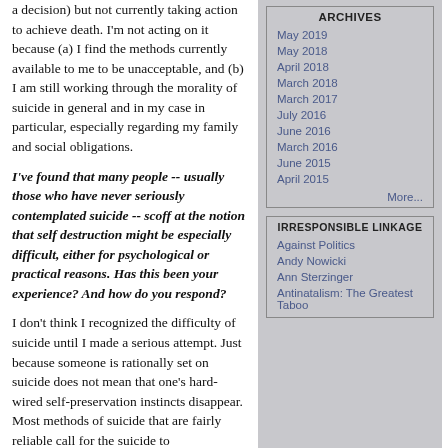a decision) but not currently taking action to achieve death. I'm not acting on it because (a) I find the methods currently available to me to be unacceptable, and (b) I am still working through the morality of suicide in general and in my case in particular, especially regarding my family and social obligations.
I've found that many people -- usually those who have never seriously contemplated suicide -- scoff at the notion that self destruction might be especially difficult, either for psychological or practical reasons. Has this been your experience? And how do you respond?
I don't think I recognized the difficulty of suicide until I made a serious attempt. Just because someone is rationally set on suicide does not mean that one's hard-wired self-preservation instincts disappear. Most methods of suicide that are fairly reliable call for the suicide to
ARCHIVES
May 2019
May 2018
April 2018
March 2018
March 2017
July 2016
June 2016
March 2016
June 2015
April 2015
More...
IRRESPONSIBLE LINKAGE
Against Politics
Andy Nowicki
Ann Sterzinger
Antinatalism: The Greatest Taboo